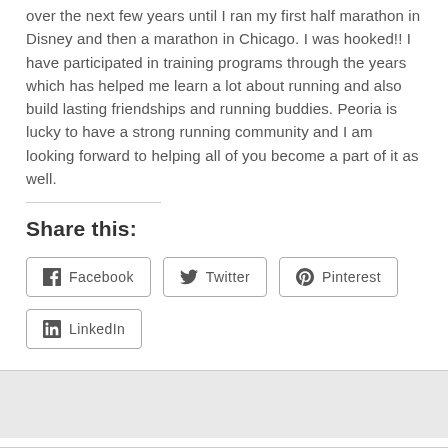over the next few years until I ran my first half marathon in Disney and then a marathon in Chicago. I was hooked!! I have participated in training programs through the years which has helped me learn a lot about running and also build lasting friendships and running buddies. Peoria is lucky to have a strong running community and I am looking forward to helping all of you become a part of it as well.
Share this:
[Figure (other): Social share buttons for Facebook, Twitter, Pinterest, and LinkedIn]